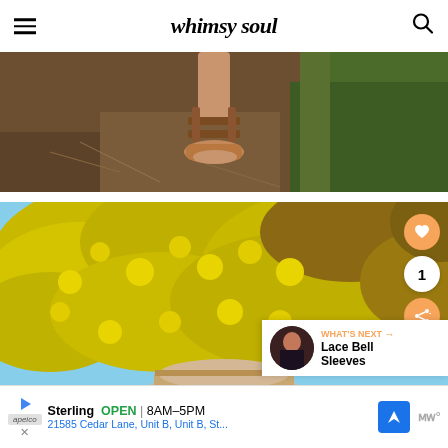whimsy soul
[Figure (photo): Close-up of feet wearing brown leather sandals on a dirt path with grass on the right side]
[Figure (photo): Looking up at a person wearing a hat against a bright yellow flowering bush (mimosa/wattle) with blue sky. Social sharing buttons visible: heart, count '1', share. 'What's Next' overlay showing 'Lace Bell Sleeves' with thumbnail.]
Sterling   OPEN | 8AM–5PM   21585 Cedar Lane, Unit B, Unit B, St...